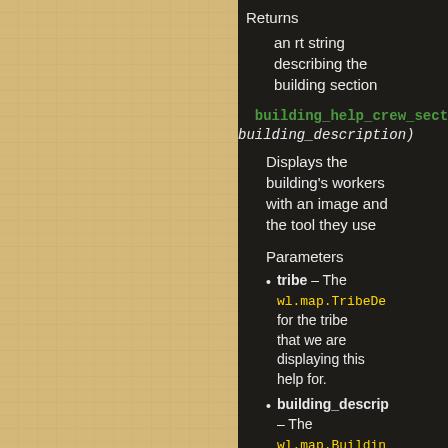Returns
    an rt string describing the building section
building_help_crew_secti... (building_description)
Displays the building's workers with an image and the tool they use
Parameters
tribe – The wl.map.TribeDe... for the tribe that we are displaying this help for.
building_descri... – The wl.map.Buildin...